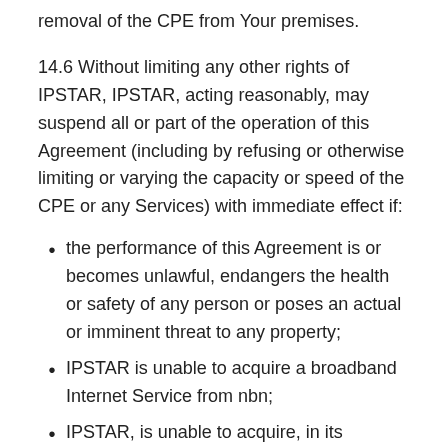removal of the CPE from Your premises.
14.6 Without limiting any other rights of IPSTAR, IPSTAR, acting reasonably, may suspend all or part of the operation of this Agreement (including by refusing or otherwise limiting or varying the capacity or speed of the CPE or any Services) with immediate effect if:
the performance of this Agreement is or becomes unlawful, endangers the health or safety of any person or poses an actual or imminent threat to any property;
IPSTAR is unable to acquire a broadband Internet Service from nbn;
IPSTAR, is unable to acquire, in its reasonable opinion, the Internet Service from nbn to a standard or quality that is acceptable to IPSTAR;
You damage, interfere with any network, systems,